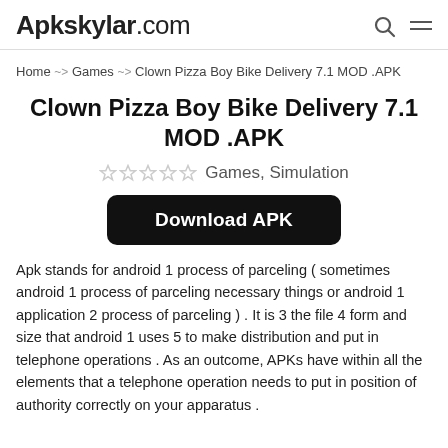Apkskylar.com
Home ~> Games ~> Clown Pizza Boy Bike Delivery 7.1 MOD .APK
Clown Pizza Boy Bike Delivery 7.1 MOD .APK
★★★★★ Games, Simulation
Download APK
Apk stands for android 1 process of parceling ( sometimes android 1 process of parceling necessary things or android 1 application 2 process of parceling ) . It is 3 the file 4 form and size that android 1 uses 5 to make distribution and put in telephone operations . As an outcome, APKs have within all the elements that a telephone operation needs to put in position of authority correctly on your apparatus .